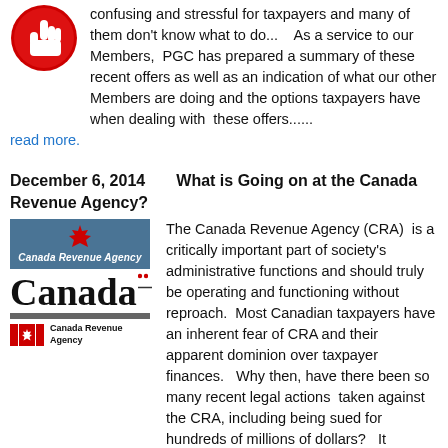[Figure (illustration): Red circle icon with a hand/cursor pointing, partially visible at top-left]
confusing and stressful for taxpayers and many of them don't know what to do...   As a service to our Members,  PGC has prepared a summary of these recent offers as well as an indication of what our other Members are doing and the options taxpayers have when dealing with  these offers......
read more.
December 6, 2014       What is Going on at the Canada Revenue Agency?
[Figure (logo): Canada Revenue Agency logo - blue banner with maple leaf and text 'Canada Revenue Agency']
[Figure (logo): Canada wordmark logo with red maple leaf dots]
[Figure (logo): Canada Revenue Agency flag logo with small text]
The Canada Revenue Agency (CRA)  is a critically important part of society's administrative functions and should truly be operating and functioning without reproach.  Most Canadian taxpayers have an inherent fear of CRA and their apparent dominion over taxpayer finances.   Why then, have there been so many recent legal actions  taken against the CRA, including being sued for hundreds of millions of dollars?   It appears to us, that CRA  (or a few powerful individuals within CRA)  have so overstepped their authority boundaries to further their personal goals that taxpayer rights have been trampled in the meantime.   Increasingly,  taxpayers are revolting and the Courts